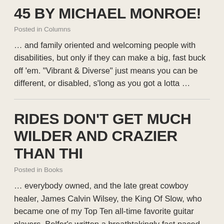45 BY MICHAEL MONROE!
Posted in Columns
… and family oriented and welcoming people with disabilities, but only if they can make a big, fast buck off 'em. "Vibrant & Diverse" just means you can be different, or disabled, s'long as you got a lotta …
RIDES DON'T GET MUCH WILDER AND CRAZIER THAN THI
Posted in Books
… everybody owned, and the late great cowboy healer, James Calvin Wilsey, the King Of Slow, who became one of my Top Ten all-time favorite guitar players. Belfer's written a breathtakingly fast paced, rollicking, …